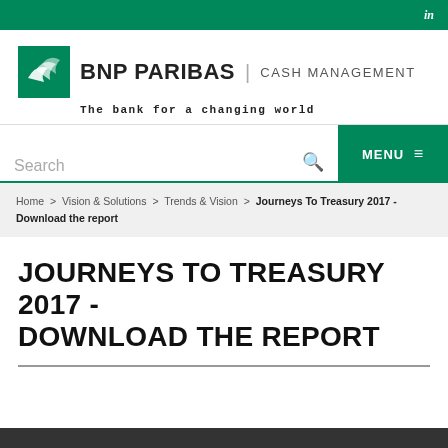in
[Figure (logo): BNP Paribas Cash Management logo with green icon and text 'BNP PARIBAS | CASH MANAGEMENT' and tagline 'The bank for a changing world']
Search
MENU
Home > Vision & Solutions > Trends & Vision > Journeys To Treasury 2017 - Download the report
JOURNEYS TO TREASURY 2017 - DOWNLOAD THE REPORT